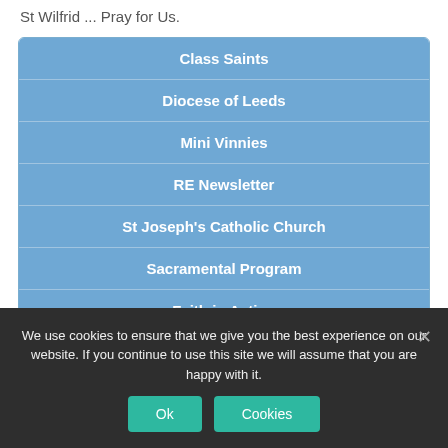St Wilfrid ... Pray for Us.
| Class Saints |
| Diocese of Leeds |
| Mini Vinnies |
| RE Newsletter |
| St Joseph's Catholic Church |
| Sacramental Program |
| Faith in Action |
| The Year of Saint Joseph |
| Collective Worship |
We use cookies to ensure that we give you the best experience on our website. If you continue to use this site we will assume that you are happy with it.